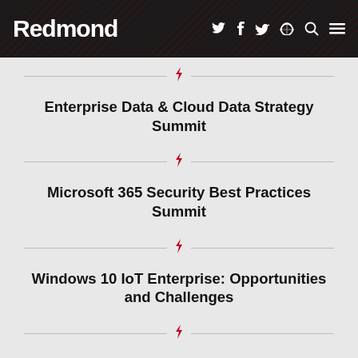Redmond
Enterprise Data & Cloud Data Strategy Summit
Microsoft 365 Security Best Practices Summit
Windows 10 IoT Enterprise: Opportunities and Challenges